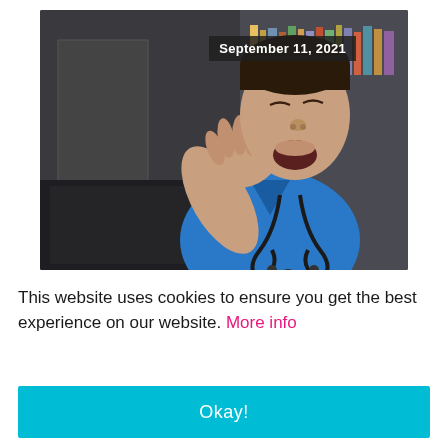[Figure (photo): A male nurse or doctor in blue scrubs with a stethoscope, yawning and covering his mouth with his hand, sitting in front of a laptop in a dark room. A date badge reading 'September 11, 2021' is overlaid in the upper right of the photo.]
This website uses cookies to ensure you get the best experience on our website. More info
Okay!